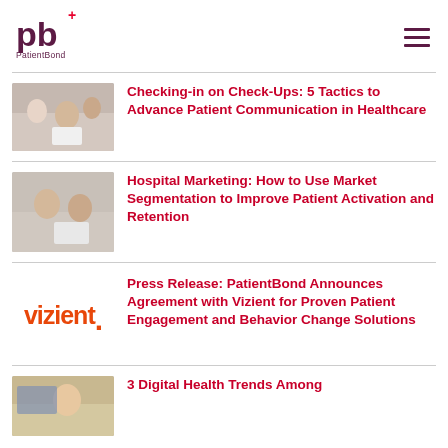PatientBond logo and navigation menu
[Figure (photo): Doctor with patient and laptop]
Checking-in on Check-Ups: 5 Tactics to Advance Patient Communication in Healthcare
[Figure (photo): Two healthcare professionals looking at a tablet]
Hospital Marketing: How to Use Market Segmentation to Improve Patient Activation and Retention
[Figure (logo): Vizient logo in orange]
Press Release: PatientBond Announces Agreement with Vizient for Proven Patient Engagement and Behavior Change Solutions
[Figure (photo): Young woman reading]
3 Digital Health Trends Among